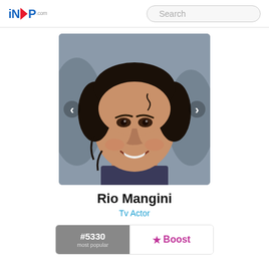IN<P.com — Search
[Figure (photo): Headshot photo of Rio Mangini, a young male actor with dark curly/wavy hair, smiling at the camera. The photo has navigation arrows on left and right sides.]
Rio Mangini
Tv Actor
#5330 most popular  ★ Boost